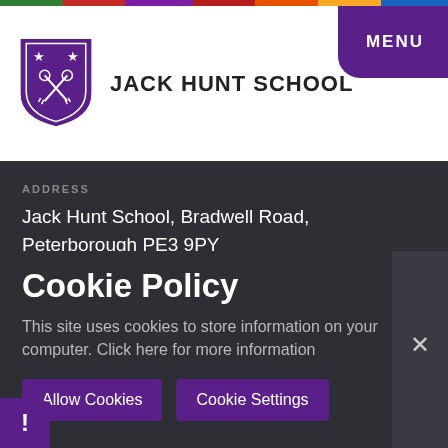[Figure (logo): Jack Hunt School shield logo with two crossed keys and two stars]
JACK HUNT SCHOOL
MENU
ADDRESS
Jack Hunt School, Bradwell Road, Peterborough PE3 9PY
TELEPHONE
EMAIL
Cookie Policy
This site uses cookies to store information on your computer. Click here for more information
Allow Cookies
Cookie Settings